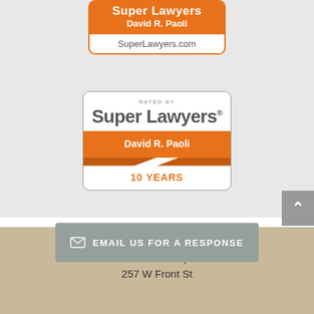[Figure (logo): Super Lawyers badge - orange pill shape with 'Super Lawyers' and 'David R. Paoli' in white on orange background, 'SuperLawyers.com' in white/orange bordered section below]
[Figure (logo): Rated by Super Lawyers badge - white rounded rectangle with 'RATED BY' text, 'Super Lawyers' in gray, orange ribbon banner with 'David R. Paoli', and '10 YEARS' in orange text]
EMAIL US FOR A RESPONSE
FIRM LOCATION::
Paoli Law Firm, P.C.
257 W Front St